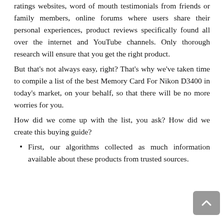ratings websites, word of mouth testimonials from friends or family members, online forums where users share their personal experiences, product reviews specifically found all over the internet and YouTube channels. Only thorough research will ensure that you get the right product.
But that's not always easy, right? That's why we've taken time to compile a list of the best Memory Card For Nikon D3400 in today's market, on your behalf, so that there will be no more worries for you.
How did we come up with the list, you ask? How did we create this buying guide?
First, our algorithms collected as much information available about these products from trusted sources.